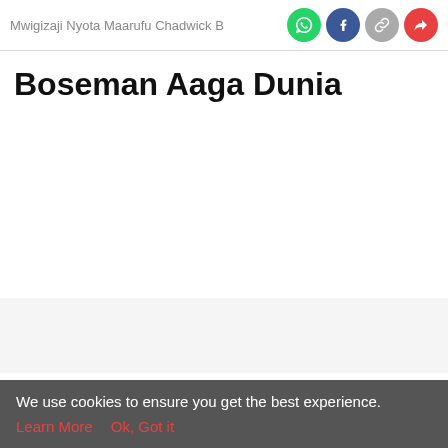Mwigizaji Nyota Maarufu Chadwick B
Boseman Aaga Dunia
We use cookies to ensure you get the best experience.
Learn More   Ok, Got it